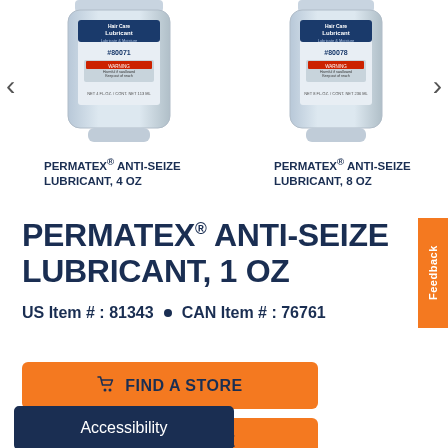[Figure (screenshot): Product carousel showing two Permatex Anti-Seize Lubricant bottles (4 oz and 8 oz) with left and right navigation arrows]
PERMATEX® ANTI-SEIZE LUBRICANT, 4 OZ
PERMATEX® ANTI-SEIZE LUBRICANT, 8 OZ
PERMATEX® ANTI-SEIZE LUBRICANT, 1 OZ
US Item # : 81343  ●  CAN Item # : 76761
Feedback
🛒 FIND A STORE
Accessibility
🛒 BUY ONLINE